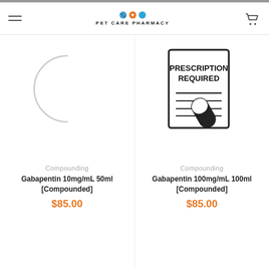PET CARE PHARMACY
[Figure (illustration): Loading spinner / circular arc (gray)]
Compounding
Gabapentin 10mg/mL 50ml [Compounded]
$85.00
[Figure (illustration): Prescription Required document icon with pill/capsule graphic]
Compounding
Gabapentin 100mg/mL 100ml [Compounded]
$85.00